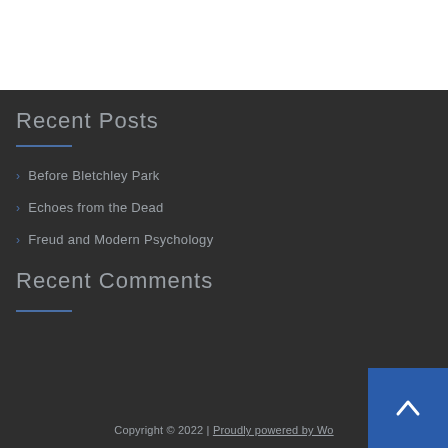Recent Posts
Before Bletchley Park
Echoes from the Dead
Freud and Modern Psychology
Recent Comments
Copyright © 2022 | Proudly powered by Wo...